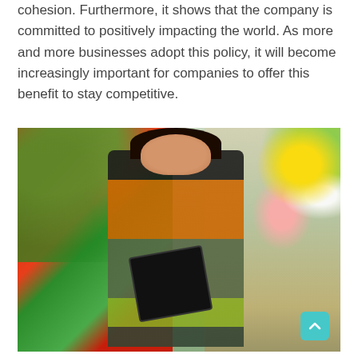cohesion. Furthermore, it shows that the company is committed to positively impacting the world. As more and more businesses adopt this policy, it will become increasingly important for companies to offer this benefit to stay competitive.
[Figure (photo): A female worker in an orange jacket and dark apron holding a tablet/clipboard while examining red flowers in a greenhouse. Background shows more flowers and another person in the distance.]